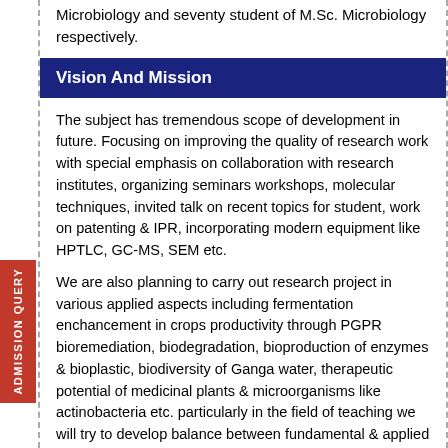Microbiology and seventy student of M.Sc. Microbiology respectively.
Vision And Mission
The subject has tremendous scope of development in future. Focusing on improving the quality of research work with special emphasis on collaboration with research institutes, organizing seminars workshops, molecular techniques, invited talk on recent topics for student, work on patenting & IPR, incorporating modern equipment like HPTLC, GC-MS, SEM etc.
We are also planning to carry out research project in various applied aspects including fermentation enchancement in crops productivity through PGPR bioremediation, biodegradation, bioproduction of enzymes & bioplastic, biodiversity of Ganga water, therapeutic potential of medicinal plants & microorganisms like actinobacteria etc. particularly in the field of teaching we will try to develop balance between fundamental & applied microbiology so that a strong continuum of research & development from basic to the applied to facilitate the development of benefits for the society. To the fulfillment of this aim we require more faculty member, both teaching and non-teaching & infrastructure for